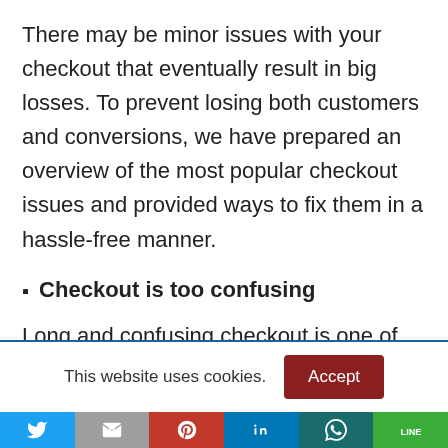There may be minor issues with your checkout that eventually result in big losses. To prevent losing both customers and conversions, we have prepared an overview of the most popular checkout issues and provided ways to fix them in a hassle-free manner.
Checkout is too confusing
Long and confusing checkout is one of the top reasons for shoppers to abandon their carts. If the
This website uses cookies.
Accept